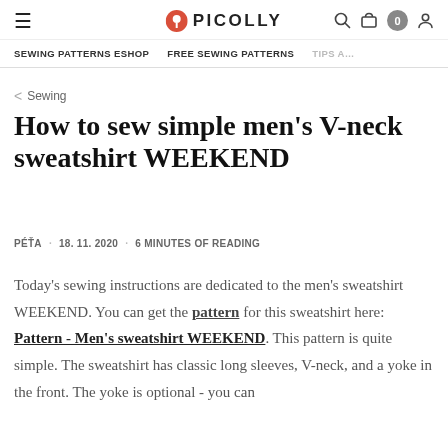≡  PICOLLY   🔍  🛒 0  👤   SEWING PATTERNS ESHOP   FREE SEWING PATTERNS   TIPS A…
< Sewing
How to sew simple men's V-neck sweatshirt WEEKEND
PÉŤA · 18. 11. 2020 · 6 MINUTES OF READING
Today's sewing instructions are dedicated to the men's sweatshirt WEEKEND. You can get the pattern for this sweatshirt here: Pattern - Men's sweatshirt WEEKEND. This pattern is quite simple. The sweatshirt has classic long sleeves, V-neck, and a yoke in the front. The yoke is optional - you can